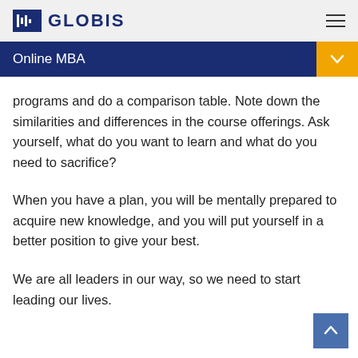GLOBIS
Online MBA
programs and do a comparison table. Note down the similarities and differences in the course offerings. Ask yourself, what do you want to learn and what do you need to sacrifice?
When you have a plan, you will be mentally prepared to acquire new knowledge, and you will put yourself in a better position to give your best.
We are all leaders in our way, so we need to start leading our lives.